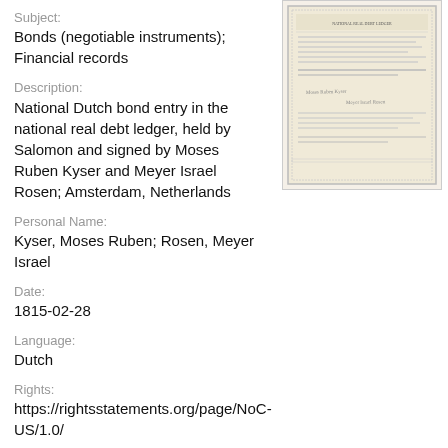Subject:
Bonds (negotiable instruments); Financial records
[Figure (photo): Thumbnail image of a historical Dutch bond document with decorative border and handwritten text]
Description:
National Dutch bond entry in the national real debt ledger, held by Salomon and signed by Moses Ruben Kyser and Meyer Israel Rosen; Amsterdam, Netherlands
Personal Name:
Kyser, Moses Ruben; Rosen, Meyer Israel
Date:
1815-02-28
Language:
Dutch
Rights:
https://rightsstatements.org/page/NoC-US/1.0/
Collection:
Arnold and Deanne Kaplan Collection of Early American Judaica (University of Pennsylvania)